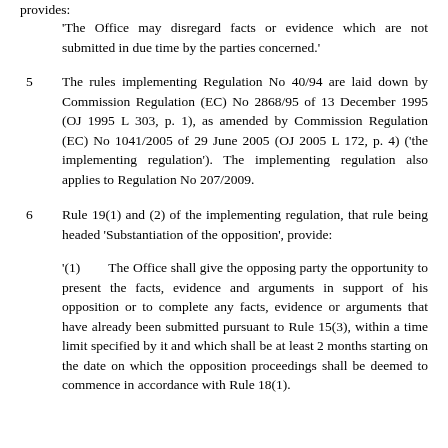provides:
'The Office may disregard facts or evidence which are not submitted in due time by the parties concerned.'
5   The rules implementing Regulation No 40/94 are laid down by Commission Regulation (EC) No 2868/95 of 13 December 1995 (OJ 1995 L 303, p. 1), as amended by Commission Regulation (EC) No 1041/2005 of 29 June 2005 (OJ 2005 L 172, p. 4) ('the implementing regulation'). The implementing regulation also applies to Regulation No 207/2009.
6   Rule 19(1) and (2) of the implementing regulation, that rule being headed 'Substantiation of the opposition', provide:
'(1)   The Office shall give the opposing party the opportunity to present the facts, evidence and arguments in support of his opposition or to complete any facts, evidence or arguments that have already been submitted pursuant to Rule 15(3), within a time limit specified by it and which shall be at least 2 months starting on the date on which the opposition proceedings shall be deemed to commence in accordance with Rule 18(1).